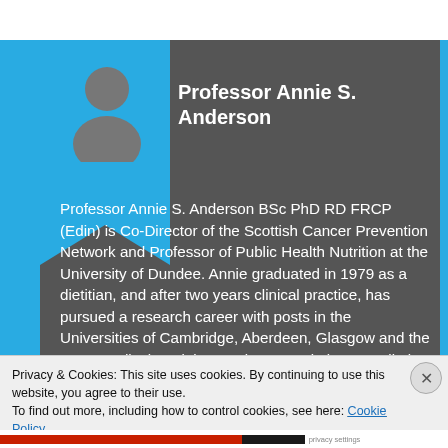Professor Annie S. Anderson
Professor Annie S. Anderson BSc PhD RD FRCP (Edin) is Co-Director of the Scottish Cancer Prevention Network and Professor of Public Health Nutrition at the University of Dundee. Annie graduated in 1979 as a dietitian, and after two years clinical practice, has pursued a research career with posts in the Universities of Cambridge, Aberdeen, Glasgow and the MRC Medical Sociology Unit. Her main interests lie in understanding factors that influence lifestyle change (principally diet and obesity) and the impact of these on public health, including for cancer prevention.
Privacy & Cookies: This site uses cookies. By continuing to use this website, you agree to their use.
To find out more, including how to control cookies, see here: Cookie Policy